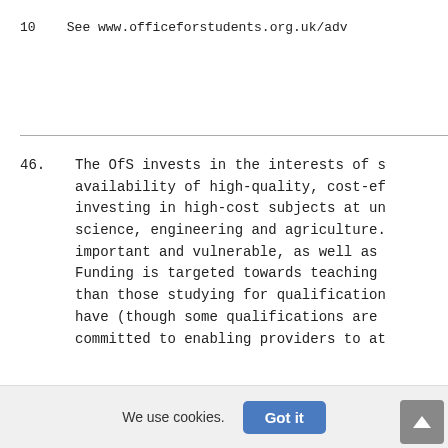10    See www.officeforstudents.org.uk/adv
46. The OfS invests in the interests of s availability of high-quality, cost-ef investing in high-cost subjects at un science, engineering and agriculture. important and vulnerable, as well as Funding is targeted towards teaching than those studying for qualification have (though some qualifications are committed to enabling providers to at
We use cookies.  Got it